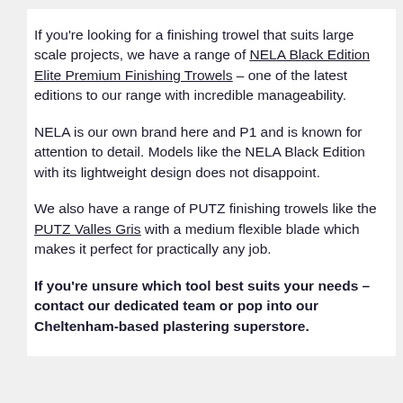If you're looking for a finishing trowel that suits large scale projects, we have a range of NELA Black Edition Elite Premium Finishing Trowels – one of the latest editions to our range with incredible manageability.
NELA is our own brand here and P1 and is known for attention to detail. Models like the NELA Black Edition with its lightweight design does not disappoint.
We also have a range of PUTZ finishing trowels like the PUTZ Valles Gris with a medium flexible blade which makes it perfect for practically any job.
If you're unsure which tool best suits your needs – contact our dedicated team or pop into our Cheltenham-based plastering superstore.